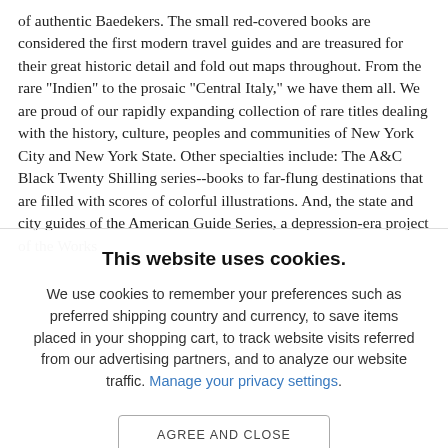of authentic Baedekers. The small red-covered books are considered the first modern travel guides and are treasured for their great historic detail and fold out maps throughout. From the rare "Inden" to the prosaic "Central Italy," we have them all. We are proud of our rapidly expanding collection of rare titles dealing with the history, culture, peoples and communities of New York City and New York State. Other specialties include: The A&C Black Twenty Shilling series--books to far-flung destinations that are filled with scores of colorful illustrations. And, the state and city guides of the American Guide Series, a depression-era project of the Works
This website uses cookies.
We use cookies to remember your preferences such as preferred shipping country and currency, to save items placed in your shopping cart, to track website visits referred from our advertising partners, and to analyze our website traffic. Manage your privacy settings.
AGREE AND CLOSE